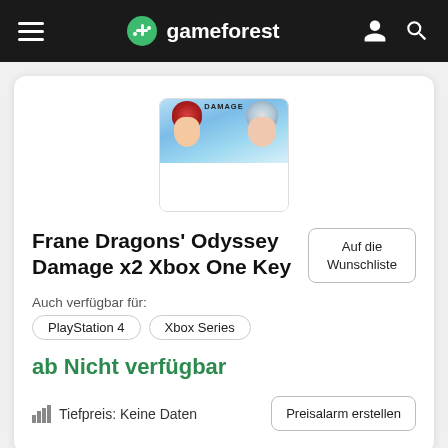gameforest
[Figure (illustration): Game cover image for Frane Dragons Odyssey Damage, showing anime-style characters with red hair against a blue/sky background. The word DAMAGE appears at the top.]
Frane Dragons' Odyssey Damage x2 Xbox One Key
Auf die Wunschliste
Auch verfügbar für:
PlayStation 4
Xbox Series
ab Nicht verfügbar
Tiefpreis: Keine Daten
Preisalarm erstellen